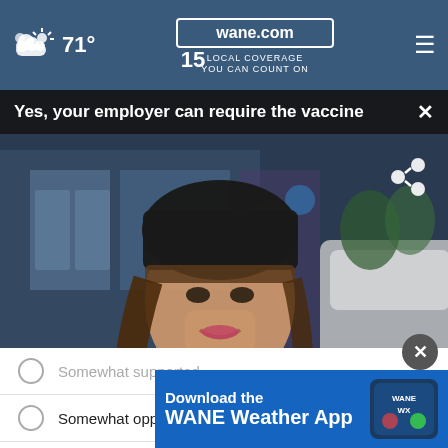71° wane.com 15 LOCAL COVERAGE YOU CAN COUNT ON
Yes, your employer can require the vaccine
[Figure (photo): A woman wearing a black knit hat and light jacket being interviewed outdoors with a microphone, storefronts visible in background]
Somewhat supported
Somewhat opposed
S...
Other / No opinion
[Figure (screenshot): Download the WANE Weather App advertisement banner with WANE WX logo]